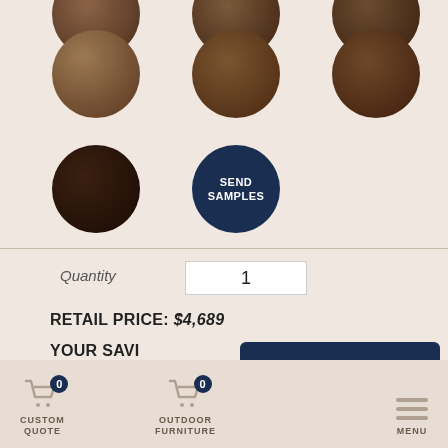[Figure (illustration): Wood finish sample swatches displayed as circular discs in a grid layout. Row 1 (partial, cut off): three dark wood circles. Row 2: three wood circles in varying dark brown tones. Row 3: one very dark espresso circle and a navy blue 'SEND SAMPLES' button circle.]
SEND SAMPLES
Quantity 1
RETAIL PRICE: $4,689
YOUR SAVI
How to Shop Our Website +
YOUR PRICE
CUSTOM QUOTE
OUTDOOR FURNITURE
MENU